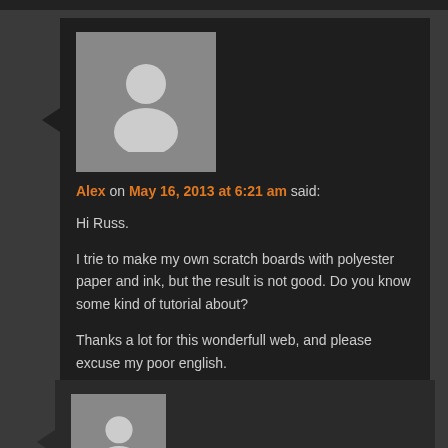[Figure (photo): Default avatar placeholder image showing a silhouette of a person, gray background]
Alex on May 16, 2013 at 6:21 am said:
Hi Russ.

I trie to make my own scratch boards with polyester paper and ink, but the result is not good. Do you know some kind of tutorial about?

Thanks a lot for this wonderfull web, and please excuse my poor english.
[Figure (photo): Default avatar placeholder image showing a silhouette of a person, gray background, smaller size]